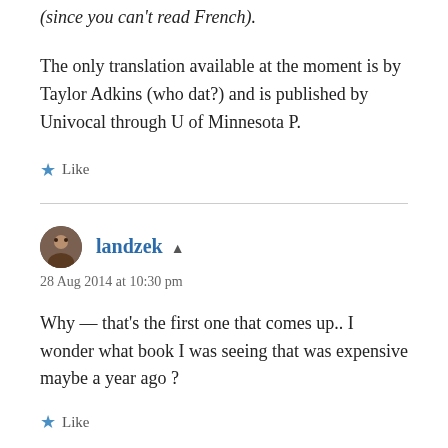(since you can't read French).
The only translation available at the moment is by Taylor Adkins (who dat?) and is published by Univocal through U of Minnesota P.
Like
landzek
28 Aug 2014 at 10:30 pm
Why — that's the first one that comes up.. I wonder what book I was seeing that was expensive maybe a year ago ?
Like